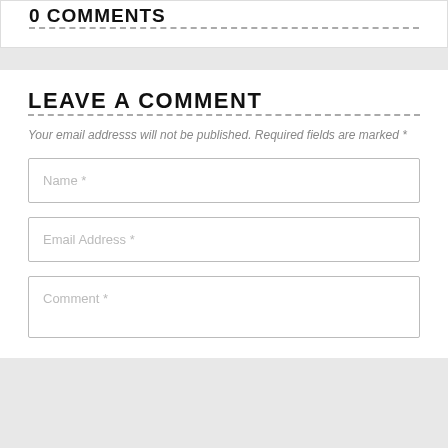0 COMMENTS
LEAVE A COMMENT
Your email addresss will not be published. Required fields are marked *
Name *
Email Address *
Comment *